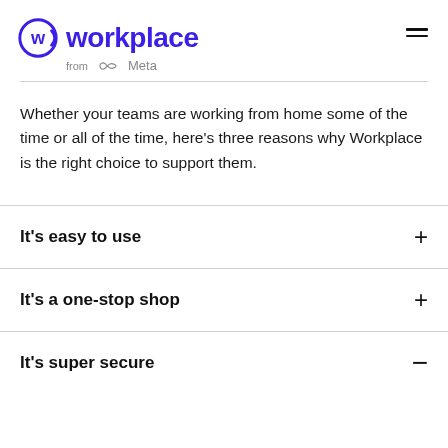workplace from Meta
Whether your teams are working from home some of the time or all of the time, here’s three reasons why Workplace is the right choice to support them.
It’s easy to use
It’s a one-stop shop
It’s super secure